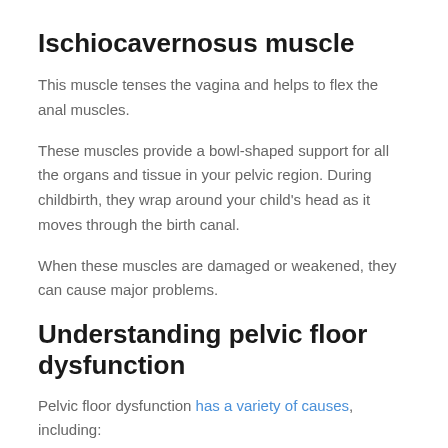Ischiocavernosus muscle
This muscle tenses the vagina and helps to flex the anal muscles.
These muscles provide a bowl-shaped support for all the organs and tissue in your pelvic region. During childbirth, they wrap around your child's head as it moves through the birth canal.
When these muscles are damaged or weakened, they can cause major problems.
Understanding pelvic floor dysfunction
Pelvic floor dysfunction has a variety of causes, including:
Traumatic pelvic injury